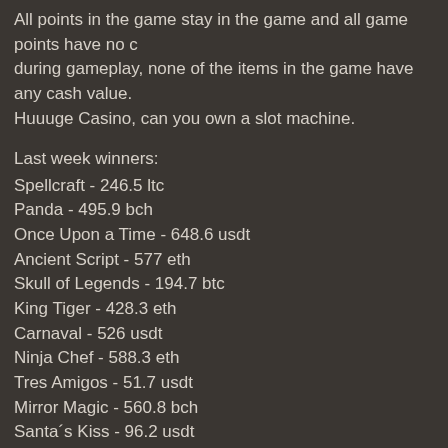All points in the game stay in the game and all game points have no cash value during gameplay, none of the items in the game have any cash value. Huuuge Casino, can you own a slot machine.
Last week winners:
Spellcraft - 246.5 ltc
Panda - 495.9 bch
Once Upon a Time - 648.6 usdt
Ancient Script - 577 eth
Skull of Legends - 194.7 btc
King Tiger - 428.3 eth
Carnaval - 526 usdt
Ninja Chef - 588.3 eth
Tres Amigos - 51.7 usdt
Mirror Magic - 560.8 bch
Santa´s Kiss - 96.2 usdt
Goldenman - 394.7 ltc
Pharaos Riches Golden Nights - 677.1 usdt
Speed Heroes - 682.6 dog
Cosmic Cat - 290 usdt